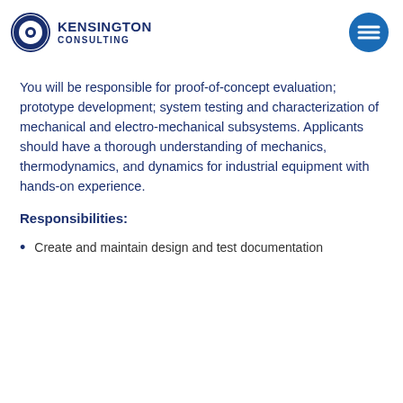KENSINGTON CONSULTING
You will be responsible for proof-of-concept evaluation; prototype development; system testing and characterization of mechanical and electro-mechanical subsystems. Applicants should have a thorough understanding of mechanics, thermodynamics, and dynamics for industrial equipment with hands-on experience.
Responsibilities:
Create and maintain design and test documentation